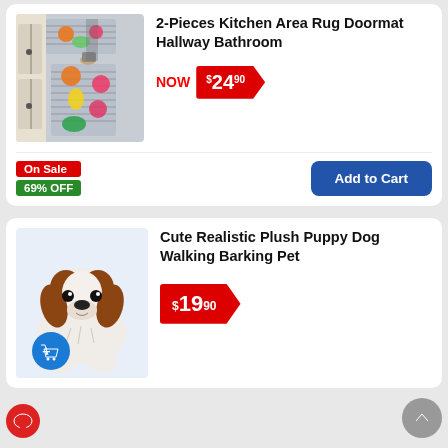[Figure (photo): 2-piece kitchen area rug / runner with fruit designs on grey striped background, shown on kitchen floor]
2-Pieces Kitchen Area Rug Doormat Hallway Bathroom
NOW $24.90
On Sale
69% OFF
Add to Cart
[Figure (photo): Cute realistic plush puppy dog toy, brown and white Cavalier King Charles Spaniel stuffed animal]
Cute Realistic Plush Puppy Dog Walking Barking Pet
$19.90